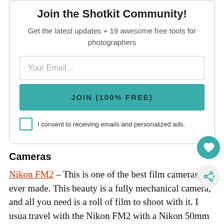Join the Shotkit Community!
Get the latest updates + 19 awesome free tools for photographers
Your Email...
JOIN (100% FREE)
I consent to receiving emails and personalized ads.
Cameras
Nikon FM2 – This is one of the best film cameras ever made. This beauty is a fully mechanical camera, and all you need is a roll of film to shoot with it. I usua travel with the Nikon FM2 with a Nikon 50mm f/1.4